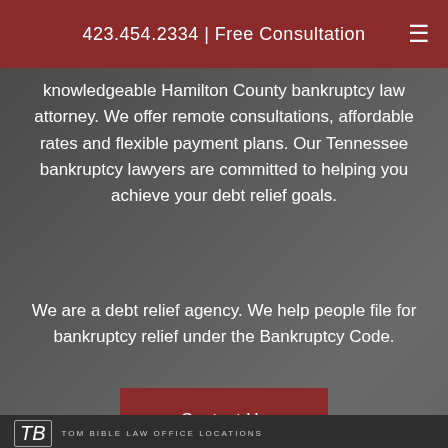423.454.2334 | Free Consultation
knowledgeable Hamilton County bankruptcy law attorney. We offer remote consultations, affordable rates and flexible payment plans. Our Tennessee bankruptcy lawyers are committed to helping you achieve your debt relief goals.
We are a debt relief agency. We help people file for bankruptcy relief under the Bankruptcy Code.
Contact Us
TOM BIBLE LAW OFFICE LOCATIONS